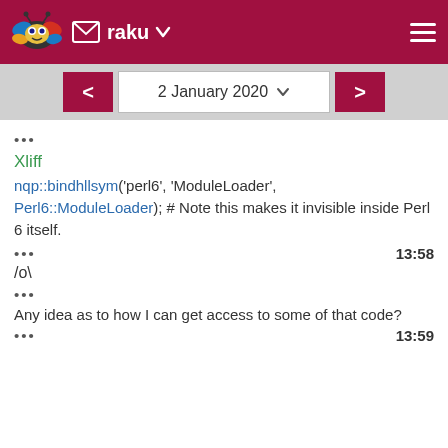raku
2 January 2020
•••
Xliff
nqp::bindhllsym('perl6', 'ModuleLoader', Perl6::ModuleLoader); # Note this makes it invisible inside Perl 6 itself.
••• 13:58
/o\
•••
Any idea as to how I can get access to some of that code?
••• 13:59